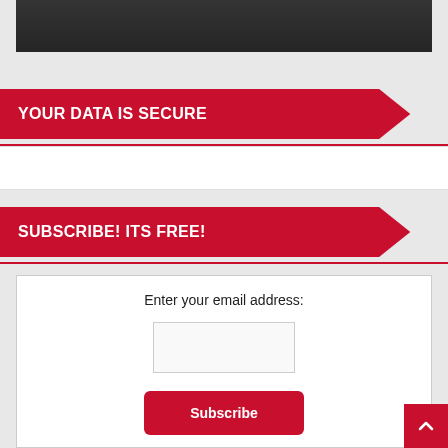[Figure (photo): Dark colored photo at top, partially visible, appears to be an interior/industrial scene]
YOUR DATA IS SECURE
SUBSCRIBE! ITS FREE!
Enter your email address:
Subscribe